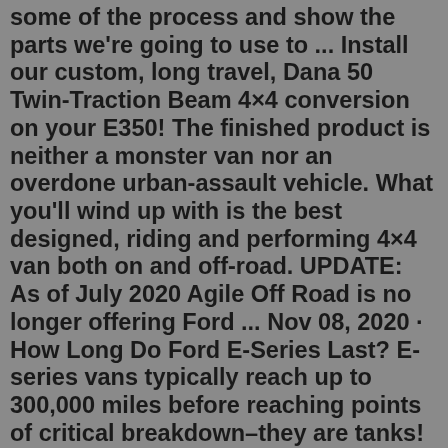some of the process and show the parts we're going to use to ... Install our custom, long travel, Dana 50 Twin-Traction Beam 4×4 conversion on your E350! The finished product is neither a monster van nor an overdone urban-assault vehicle. What you'll wind up with is the best designed, riding and performing 4×4 van both on and off-road. UPDATE: As of July 2020 Agile Off Road is no longer offering Ford ... Nov 08, 2020 · How Long Do Ford E-Series Last? E-series vans typically reach up to 300,000 miles before reaching points of critical breakdown–they are tanks! My van came with 170,000 miles on it and I'm now at 186,000 miles–still haven't run into any issues. The E-series includes the E150, E250, and E350. 1997 FORD E-350 - 7.3 DIESEL - 4x4 QUIGLEY CONVERSION - DUAL REAR WHEELS - HIGH IDLE PTO PACKAGE - COMPLETE CUSTOM INTERIOR - ONLY 1 OWNER - ZEIBARTED SINCE DAY 1 - ULTRA NICE INSIDE and OUT - EXTREMELY RARE VAN- ONLY ONE AVAILABLE - 133K MILES - This was bought new LIKE this, from